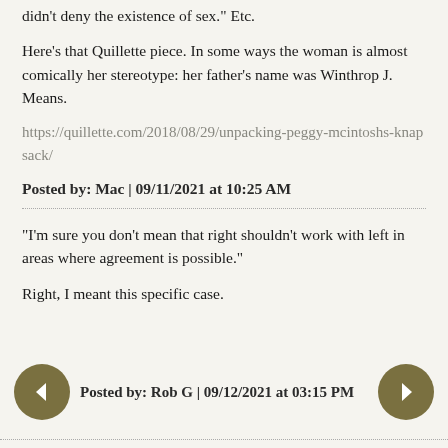didn't deny the existence of sex." Etc.
Here's that Quillette piece. In some ways the woman is almost comically her stereotype: her father's name was Winthrop J. Means.
https://quillette.com/2018/08/29/unpacking-peggy-mcintoshs-knapsack/
Posted by: Mac | 09/11/2021 at 10:25 AM
"I'm sure you don't mean that right shouldn't work with left in areas where agreement is possible."
Right, I meant this specific case.
Posted by: Rob G | 09/12/2021 at 03:15 PM